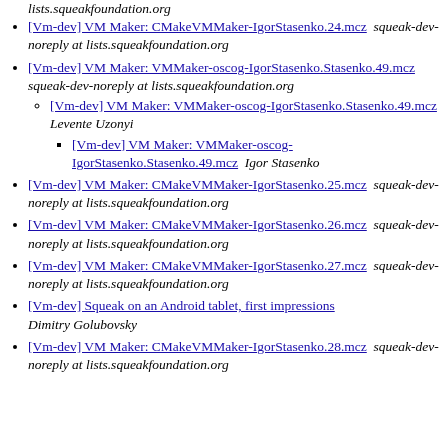lists.squeakfoundation.org
[Vm-dev] VM Maker: CMakeVMMaker-IgorStasenko.24.mcz  squeak-dev-noreply at lists.squeakfoundation.org
[Vm-dev] VM Maker: VMMaker-oscog-IgorStasenko.Stasenko.49.mcz  squeak-dev-noreply at lists.squeakfoundation.org
[Vm-dev] VM Maker: VMMaker-oscog-IgorStasenko.Stasenko.49.mcz  Levente Uzonyi
[Vm-dev] VM Maker: VMMaker-oscog-IgorStasenko.Stasenko.49.mcz  Igor Stasenko
[Vm-dev] VM Maker: CMakeVMMaker-IgorStasenko.25.mcz  squeak-dev-noreply at lists.squeakfoundation.org
[Vm-dev] VM Maker: CMakeVMMaker-IgorStasenko.26.mcz  squeak-dev-noreply at lists.squeakfoundation.org
[Vm-dev] VM Maker: CMakeVMMaker-IgorStasenko.27.mcz  squeak-dev-noreply at lists.squeakfoundation.org
[Vm-dev] Squeak on an Android tablet, first impressions  Dimitry Golubovsky
[Vm-dev] VM Maker: CMakeVMMaker-IgorStasenko.28.mcz  squeak-dev-noreply at lists.squeakfoundation.org